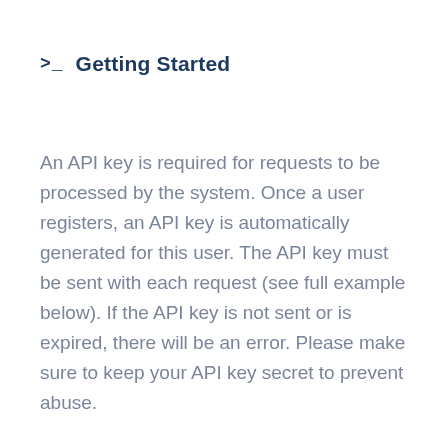>_ Getting Started
An API key is required for requests to be processed by the system. Once a user registers, an API key is automatically generated for this user. The API key must be sent with each request (see full example below). If the API key is not sent or is expired, there will be an error. Please make sure to keep your API key secret to prevent abuse.